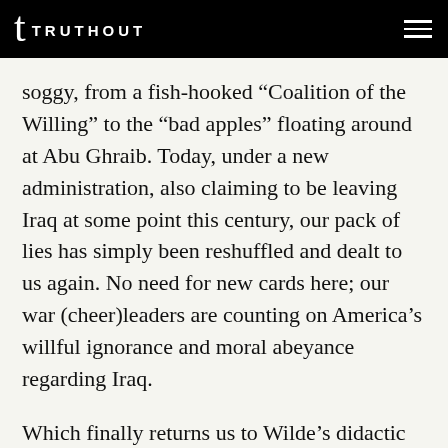TRUTHOUT
soggy, from a fish-hooked “Coalition of the Willing” to the “bad apples” floating around at Abu Ghraib. Today, under a new administration, also claiming to be leaving Iraq at some point this century, our pack of lies has simply been reshuffled and dealt to us again. No need for new cards here; our war (cheer)leaders are counting on America’s willful ignorance and moral abeyance regarding Iraq.
Which finally returns us to Wilde’s didactic dialogue, cheekily arguing “that Life imitates